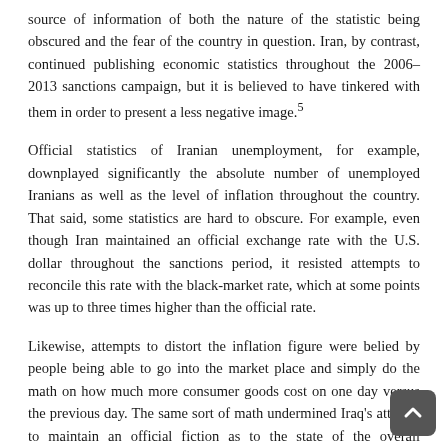source of information of both the nature of the statistic being obscured and the fear of the country in question. Iran, by contrast, continued publishing economic statistics throughout the 2006–2013 sanctions campaign, but it is believed to have tinkered with them in order to present a less negative image.5
Official statistics of Iranian unemployment, for example, downplayed significantly the absolute number of unemployed Iranians as well as the level of inflation throughout the country. That said, some statistics are hard to obscure. For example, even though Iran maintained an official exchange rate with the U.S. dollar throughout the sanctions period, it resisted attempts to reconcile this rate with the black-market rate, which at some points was up to three times higher than the official rate.
Likewise, attempts to distort the inflation figure were belied by people being able to go into the market place and simply do the math on how much more consumer goods cost on one day versus the previous day. The same sort of math undermined Iraq's attempt to maintain an official fiction as to the state of the overall economy.